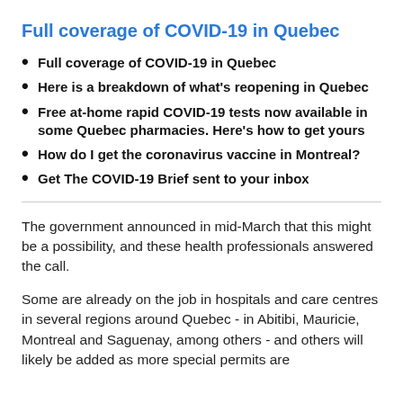Full coverage of COVID-19 in Quebec
Full coverage of COVID-19 in Quebec
Here is a breakdown of what's reopening in Quebec
Free at-home rapid COVID-19 tests now available in some Quebec pharmacies. Here's how to get yours
How do I get the coronavirus vaccine in Montreal?
Get The COVID-19 Brief sent to your inbox
The government announced in mid-March that this might be a possibility, and these health professionals answered the call.
Some are already on the job in hospitals and care centres in several regions around Quebec - in Abitibi, Mauricie, Montreal and Saguenay, among others - and others will likely be added as more special permits are